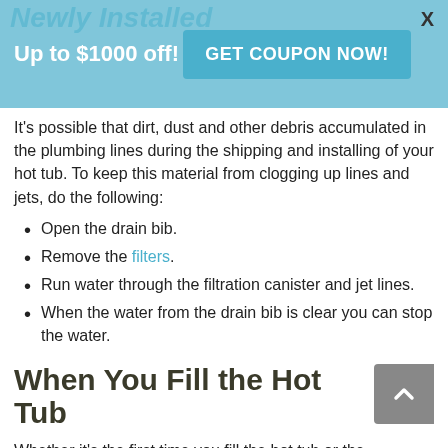Newly Installed
It's possible that dirt, dust and other debris accumulated in the plumbing lines during the shipping and installing of your hot tub. To keep this material from clogging up lines and jets, do the following:
Open the drain bib.
Remove the filters.
Run water through the filtration canister and jet lines.
When the water from the drain bib is clear you can stop the water.
When You Fill the Hot Tub
Whether it's the first time you fill the hot tub or the hundredth, there may be air in the plumbing lines. It's important to let this air escape so that it doesn't damage any of the spa components.